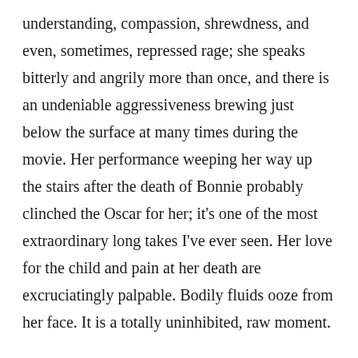understanding, compassion, shrewdness, and even, sometimes, repressed rage; she speaks bitterly and angrily more than once, and there is an undeniable aggressiveness brewing just below the surface at many times during the movie. Her performance weeping her way up the stairs after the death of Bonnie probably clinched the Oscar for her; it’s one of the most extraordinary long takes I’ve ever seen. Her love for the child and pain at her death are excruciatingly palpable. Bodily fluids ooze from her face. It is a totally uninhibited, raw moment.
But what about Butterfly McQueen as Prissy? Is she